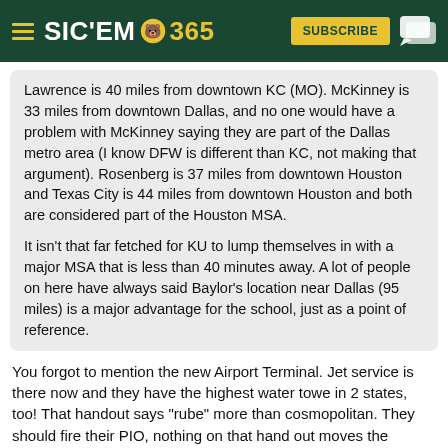SIC'EM 365 — SUBSCRIBE
Lawrence is 40 miles from downtown KC (MO). McKinney is 33 miles from downtown Dallas, and no one would have a problem with McKinney saying they are part of the Dallas metro area (I know DFW is different than KC, not making that argument). Rosenberg is 37 miles from downtown Houston and Texas City is 44 miles from downtown Houston and both are considered part of the Houston MSA.

It isn't that far fetched for KU to lump themselves in with a major MSA that is less than 40 minutes away. A lot of people on here have always said Baylor's location near Dallas (95 miles) is a major advantage for the school, just as a point of reference.
You forgot to mention the new Airport Terminal. Jet service is there now and they have the highest water towe in 2 states, too! That handout says "rube" more than cosmopolitan. They should fire their PIO, nothing on that hand out moves the needle. UCF & USF in Florida have more to sell the B10 than Kansas based on that.
'Learn the rules like a pro, so you can break them like an artist.' ... Pablo Picasso